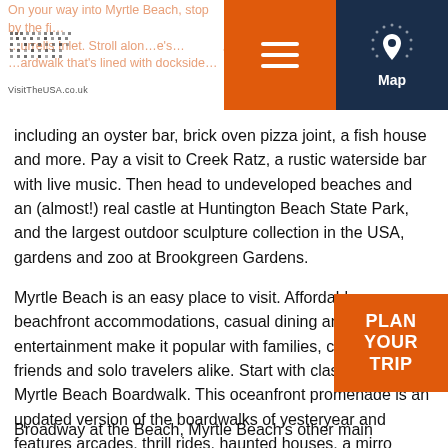On your way into Myrtle Beach, stop by the fishing village of Murrells Inlet. Stroll along the boardwalk that's lined with dockside restaurants
[Figure (logo): VisitTheUSA.co.uk logo with dot-matrix pattern]
including an oyster bar, brick oven pizza joint, a fish house and more. Pay a visit to Creek Ratz, a rustic waterside bar with live music. Then head to undeveloped beaches and an (almost!) real castle at Huntington Beach State Park, and the largest outdoor sculpture collection in the USA, gardens and zoo at Brookgreen Gardens.
Myrtle Beach is an easy place to visit. Affordable beachfront accommodations, casual dining and non-stop entertainment make it popular with families, couples, friends and solo travelers alike. Start with classic fun at the Myrtle Beach Boardwalk. This oceanfront promenade is an updated version of the boardwalks of yesteryear and features arcades, thrill rides, haunted houses, a mirror maze, casual food and lively bars. Take a ride on the SkyWheel, the tallest Ferris wheel on the East Coast, for unbeatable shoreline views.
Broadway at the Beach, Myrtle Beach's other main